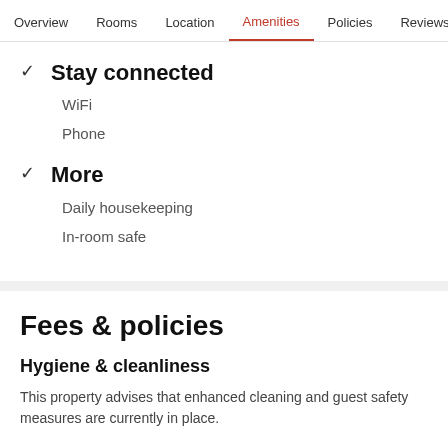Overview  Rooms  Location  Amenities  Policies  Reviews
Stay connected
WiFi
Phone
More
Daily housekeeping
In-room safe
Fees & policies
Hygiene & cleanliness
This property advises that enhanced cleaning and guest safety measures are currently in place.